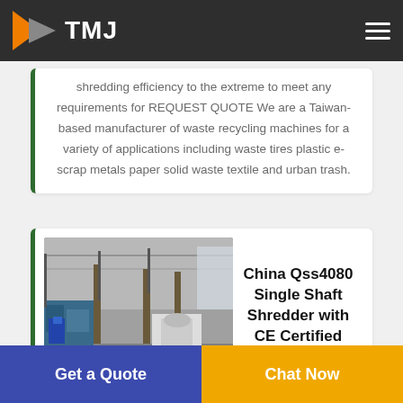TMJ
shredding efficiency to the extreme to meet any requirements for REQUEST QUOTE We are a Taiwan-based manufacturer of waste recycling machines for a variety of applications including waste tires plastic e-scrap metals paper solid waste textile and urban trash.
[Figure (photo): Interior of a factory/manufacturing facility with industrial machinery, overhead cranes, and equipment.]
China Qss4080 Single Shaft Shredder with CE Certified
Get a Quote
Chat Now